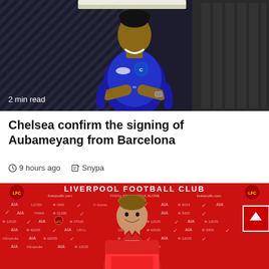[Figure (photo): A football player wearing a blue Chelsea FC shirt posing with arms crossed in a dark corridor with diagonal line patterns in the background]
2 min read
Chelsea confirm the signing of Aubameyang from Barcelona
9 hours ago  Snypa
[Figure (photo): A player at a Liverpool FC press conference backdrop holding a red shirt, with Liverpool FC branding and sponsor logos visible]